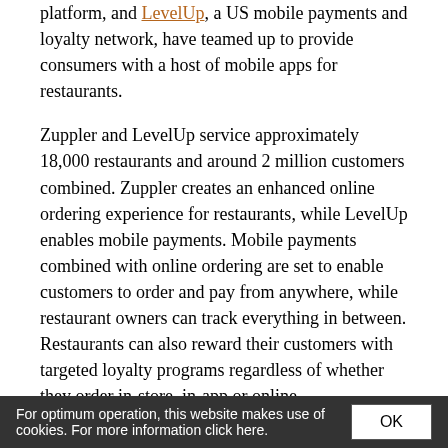platform, and LevelUp, a US mobile payments and loyalty network, have teamed up to provide consumers with a host of mobile apps for restaurants.
Zuppler and LevelUp service approximately 18,000 restaurants and around 2 million customers combined. Zuppler creates an enhanced online ordering experience for restaurants, while LevelUp enables mobile payments. Mobile payments combined with online ordering are set to enable customers to order and pay from anywhere, while restaurant owners can track everything in between. Restaurants can also reward their customers with targeted loyalty programs regardless of whether they order in-store, in-app or online.
Boloco and Protein Bar, two restaurants with locations across the country, have already launched apps featuring mobile payments and online ordering from the LevelUp/Zuppler partnership.
For optimum operation, this website makes use of cookies. For more information click here.